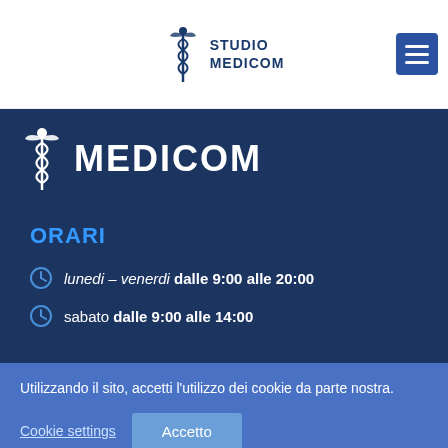STUDIO MEDICOM
[Figure (logo): MEDICOM logo with caduceus symbol and large MEDICOM text on dark blue background]
ORARI
lunedi – venerdi dalle 9:00 alle 20:00
sabato dalle 9:00 alle 14:00
Utilizzando il sito, accetti l'utilizzo dei cookie da parte nostra.
Cookie settings  Accetto